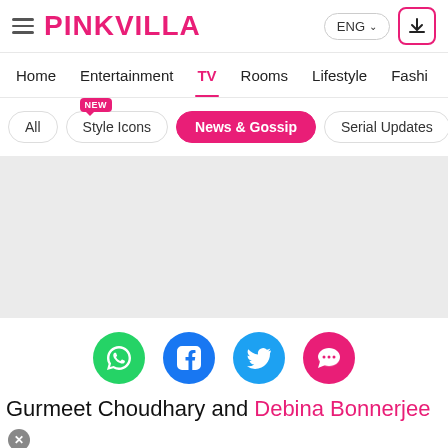PINKVILLA — ENG
Home | Entertainment | TV | Rooms | Lifestyle | Fashio
All | Style Icons (NEW) | News & Gossip | Serial Updates
[Figure (other): Gray advertisement/image placeholder area]
[Figure (infographic): Social sharing icons: WhatsApp (green), Facebook (blue), Twitter (light blue), More/chat (pink)]
Gurmeet Choudhary and Debina Bonnerjee became proud parents of a baby girl, a few days